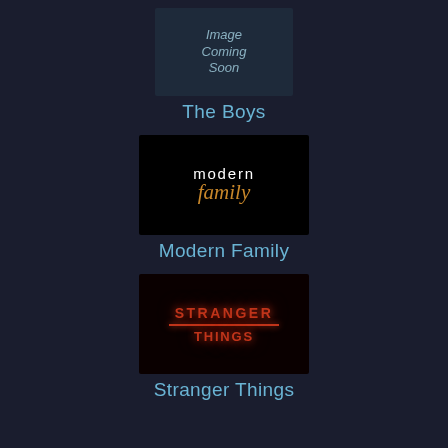[Figure (illustration): Dark blue placeholder box with italic text 'Image Coming Soon']
The Boys
[Figure (logo): Modern Family TV show logo: white 'modern' text and gold italic 'family' on black background]
Modern Family
[Figure (logo): Stranger Things TV show logo with red glowing text on dark background]
Stranger Things